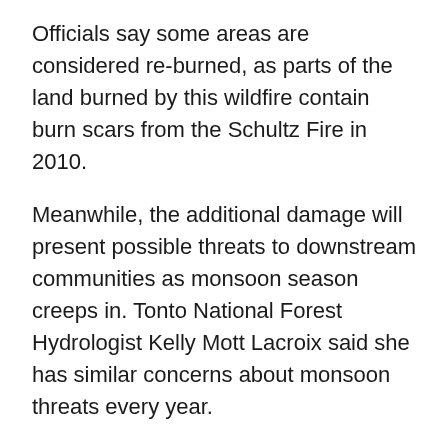Officials say some areas are considered re-burned, as parts of the land burned by this wildfire contain burn scars from the Schultz Fire in 2010.
Meanwhile, the additional damage will present possible threats to downstream communities as monsoon season creeps in. Tonto National Forest Hydrologist Kelly Mott Lacroix said she has similar concerns about monsoon threats every year.
"Monsoon season is always unpredictable," said Lacroix. "The danger associated with monsoon storms really depends on the storm and the year."
Officials with the National Weather Service released their monsoon prediction on May 4, and the prediction calls for a normal or above-normal monsoon season.